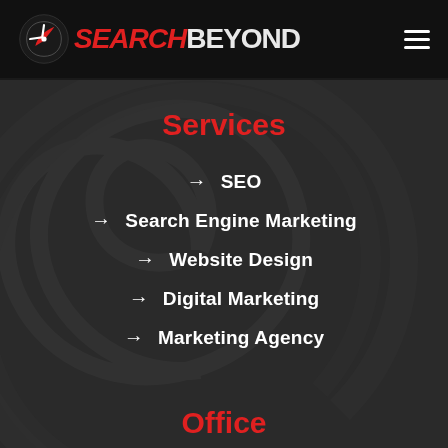SEARCHBEYOND
Services
→ SEO
→ Search Engine Marketing
→ Website Design
→ Digital Marketing
→ Marketing Agency
Office